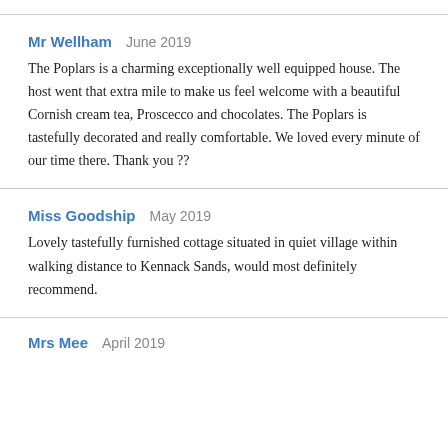Mr Wellham   June 2019
The Poplars is a charming exceptionally well equipped house. The host went that extra mile to make us feel welcome with a beautiful Cornish cream tea, Proscecco and chocolates. The Poplars is tastefully decorated and really comfortable. We loved every minute of our time there. Thank you ??
Miss Goodship   May 2019
Lovely tastefully furnished cottage situated in quiet village within walking distance to Kennack Sands, would most definitely recommend.
Mrs Mee   April 2019